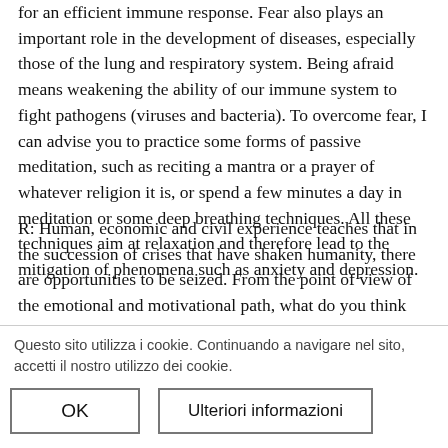for an efficient immune response. Fear also plays an important role in the development of diseases, especially those of the lung and respiratory system. Being afraid means weakening the ability of our immune system to fight pathogens (viruses and bacteria). To overcome fear, I can advise you to practice some forms of passive meditation, such as reciting a mantra or a prayer of whatever religion it is, or spend a few minutes a day in meditation or some deep breathing techniques. All these techniques aim at relaxation and therefore lead to the mitigation of phenomena such as anxiety and depression.
R: Human, economic and civil experience teaches that in the succession of crises that have shaken humanity, there are opportunities to be seized. From the point of view of the emotional and motivational path, what do you think are the opportunities to be taken to better enjoy the near future, healthy emot... [partially obscured] ...ad to social crises and...
D.M. When we experience a crisis, we are faced with a sudden